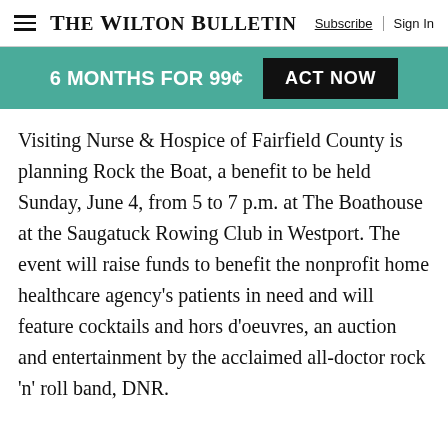The Wilton Bulletin | Subscribe | Sign In
6 MONTHS FOR 99¢   ACT NOW
Visiting Nurse & Hospice of Fairfield County is planning Rock the Boat, a benefit to be held Sunday, June 4, from 5 to 7 p.m. at The Boathouse at the Saugatuck Rowing Club in Westport. The event will raise funds to benefit the nonprofit home healthcare agency's patients in need and will feature cocktails and hors d'oeuvres, an auction and entertainment by the acclaimed all-doctor rock 'n' roll band, DNR.